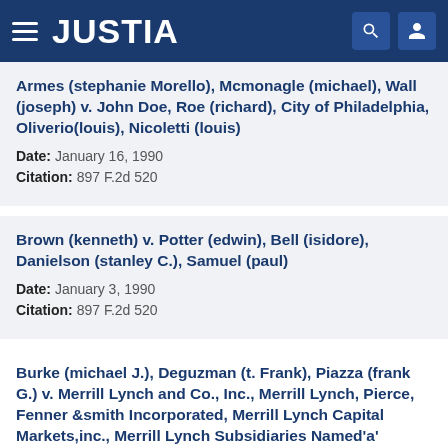JUSTIA
Armes (stephanie Morello), Mcmonagle (michael), Wall (joseph) v. John Doe, Roe (richard), City of Philadelphia, Oliverio(louis), Nicoletti (louis)
Date: January 16, 1990
Citation: 897 F.2d 520
Brown (kenneth) v. Potter (edwin), Bell (isidore), Danielson (stanley C.), Samuel (paul)
Date: January 3, 1990
Citation: 897 F.2d 520
Burke (michael J.), Deguzman (t. Frank), Piazza (frank G.) v. Merrill Lynch and Co., Inc., Merrill Lynch, Pierce, Fenner &smith Incorporated, Merrill Lynch Capital Markets,inc., Merrill Lynch Subsidiaries Named'a' Through 'i'